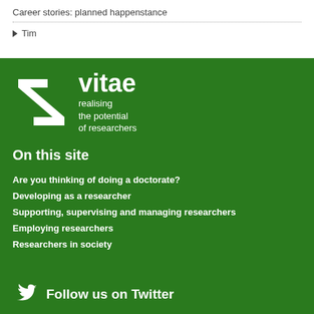Career stories: planned happenstance
Tim
[Figure (logo): Vitae logo: white stylized geometric icon on green background with text 'vitae' and tagline 'realising the potential of researchers']
On this site
Are you thinking of doing a doctorate?
Developing as a researcher
Supporting, supervising and managing researchers
Employing researchers
Researchers in society
Follow us on Twitter